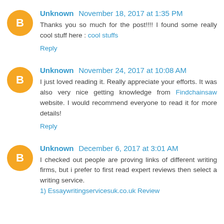Unknown November 18, 2017 at 1:35 PM
Thanks you so much for the post!!!! I found some really cool stuff here : cool stuffs
Reply
Unknown November 24, 2017 at 10:08 AM
I just loved reading it. Really appreciate your efforts. It was also very nice getting knowledge from Findchainsaw website. I would recommend everyone to read it for more details!
Reply
Unknown December 6, 2017 at 3:01 AM
I checked out people are proving links of different writing firms, but i prefer to first read expert reviews then select a writing service.
1) Essaywritingservicesuk.co.uk Review